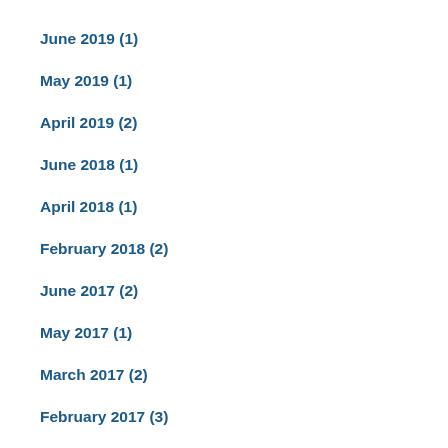June 2019 (1)
May 2019 (1)
April 2019 (2)
June 2018 (1)
April 2018 (1)
February 2018 (2)
June 2017 (2)
May 2017 (1)
March 2017 (2)
February 2017 (3)
January 2017 (2)
December 2016 (2)